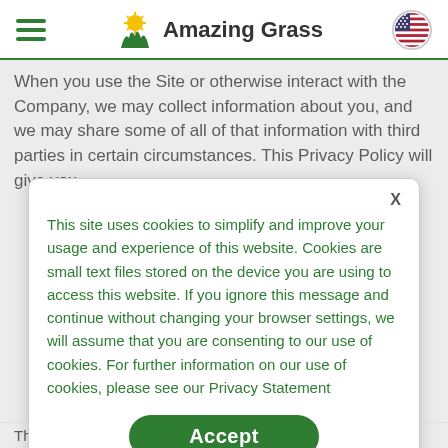Amazing Grass
When you use the Site or otherwise interact with the Company, we may collect information about you, and we may share some of all of that information with third parties in certain circumstances. This Privacy Policy will give you
This site uses cookies to simplify and improve your usage and experience of this website. Cookies are small text files stored on the device you are using to access this website. If you ignore this message and continue without changing your browser settings, we will assume that you are consenting to our use of cookies. For further information on our use of cookies, please see our Privacy Statement
Accept
This Privacy Policy may be updated and changed from